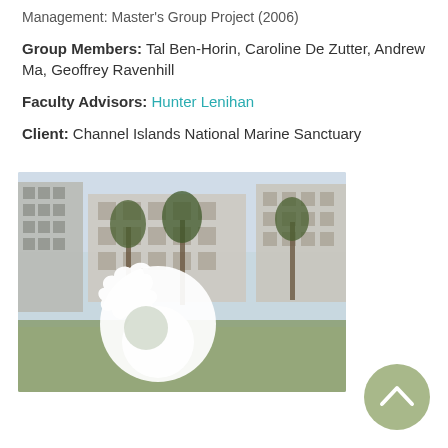Management: Master's Group Project (2006)
Group Members: Tal Ben-Horin, Caroline De Zutter, Andrew Ma, Geoffrey Ravenhill
Faculty Advisors: Hunter Lenihan
Client: Channel Islands National Marine Sanctuary
[Figure (photo): Photograph of a modern campus building with palm trees and grass in the foreground, overlaid with a white UCSB Bren School logo (oak leaf and circle symbol)]
[Figure (other): Circular sage-green back-to-top navigation button with an upward chevron arrow]